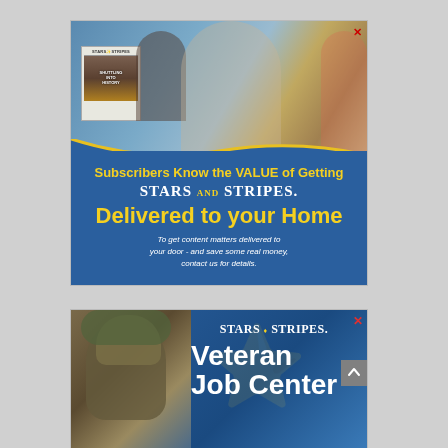[Figure (advertisement): Stars and Stripes newspaper subscription advertisement. Top half shows a family (man, woman, baby, young girl) on a couch, man holding Stars and Stripes newspaper with 'Shuttling Into History' headline. Bottom half on blue background reads: 'Subscribers Know the VALUE of Getting STARS AND STRIPES. Delivered to your Home. To get content matters delivered to your door - and save some real money, contact us for details.']
[Figure (advertisement): Stars and Stripes Veteran Job Center advertisement. Blue background with soldier in camouflage gear on left side, Stars and Stripes logo and 'Veteran Job Center' text on right side.]